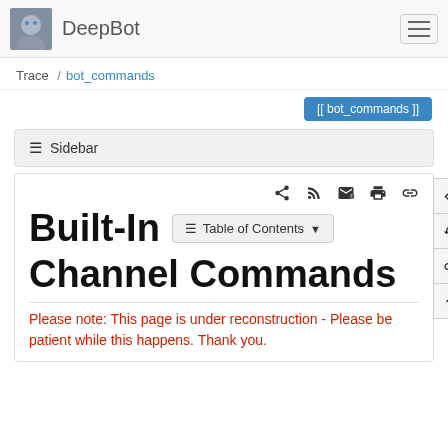DeepBot
Trace / bot_commands
[[ bot_commands ]]
≡ Sidebar
Built-In Channel Commands
Please note: This page is under reconstruction - Please be patient while this happens. Thank you.